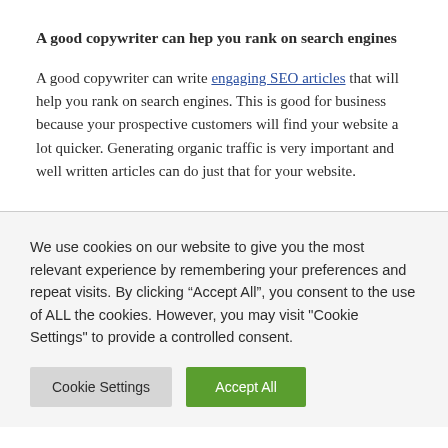A good copywriter can hep you rank on search engines
A good copywriter can write engaging SEO articles that will help you rank on search engines. This is good for business because your prospective customers will find your website a lot quicker. Generating organic traffic is very important and well written articles can do just that for your website.
We use cookies on our website to give you the most relevant experience by remembering your preferences and repeat visits. By clicking “Accept All”, you consent to the use of ALL the cookies. However, you may visit "Cookie Settings" to provide a controlled consent.